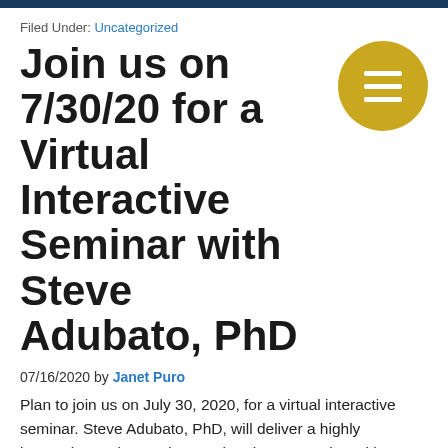Filed Under: Uncategorized
Join us on 7/30/20 for a Virtual Interactive Seminar with Steve Adubato, PhD
07/16/2020 by Janet Puro
Plan to join us on July 30, 2020, for a virtual interactive seminar. Steve Adubato, PhD, will deliver a highly interactive and engaging seminar in cooperation with MDAdvantage that will include practical and relevant tips and tools for medical professionals and practice managers who may be …
[Read more...]